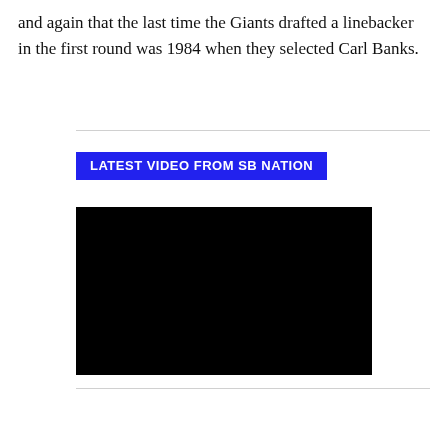and again that the last time the Giants drafted a linebacker in the first round was 1984 when they selected Carl Banks.
[Figure (screenshot): A blue button labeled 'LATEST VIDEO FROM SB NATION' above a black video player rectangle.]